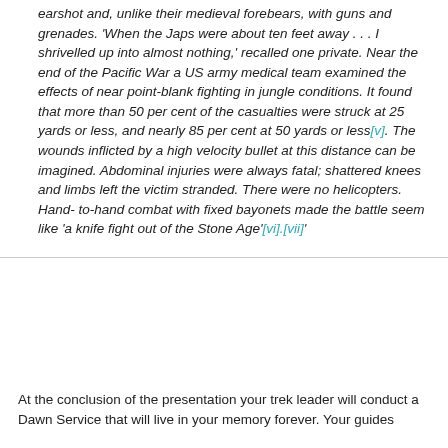earshot and, unlike their medieval forebears, with guns and grenades. 'When the Japs were about ten feet away . . . I shrivelled up into almost nothing,' recalled one private. Near the end of the Pacific War a US army medical team examined the effects of near point-blank fighting in jungle conditions. It found that more than 50 per cent of the casualties were struck at 25 yards or less, and nearly 85 per cent at 50 yards or less[v]. The wounds inflicted by a high velocity bullet at this distance can be imagined. Abdominal injuries were always fatal; shattered knees and limbs left the victim stranded. There were no helicopters. Hand-to-hand combat with fixed bayonets made the battle seem like 'a knife fight out of the Stone Age'[vi].[vii]'
At the conclusion of the presentation your trek leader will conduct a Dawn Service that will live in your memory forever. Your guides